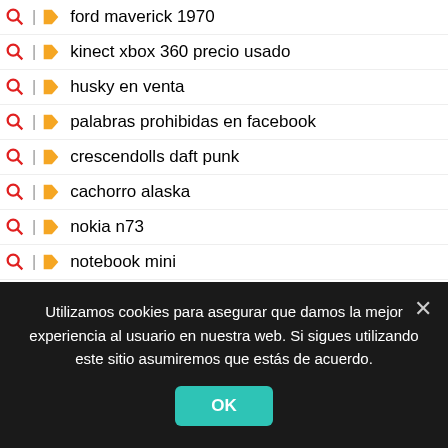ford maverick 1970
kinect xbox 360 precio usado
husky en venta
palabras prohibidas en facebook
crescendolls daft punk
cachorro alaska
nokia n73
notebook mini
marketing de ciudades
chucky el muñeco diabolico 2019 online
von hayek
mccormick pesa
barebho calorias (partial)
Utilizamos cookies para asegurar que damos la mejor experiencia al usuario en nuestra web. Si sigues utilizando este sitio asumiremos que estás de acuerdo.